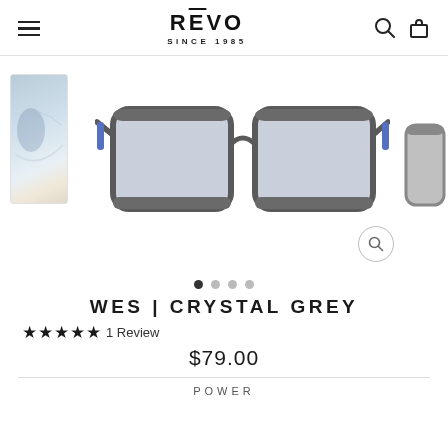REVO SINCE 1985
[Figure (photo): Front view of Revo WES Crystal Grey eyeglasses with square grey frames and blue-tinted clear lenses, shown on white background. Thumbnail of lifestyle image on left, partial side view on right.]
WES | CRYSTAL GREY
★★★★★ 1 Review
$79.00
POWER